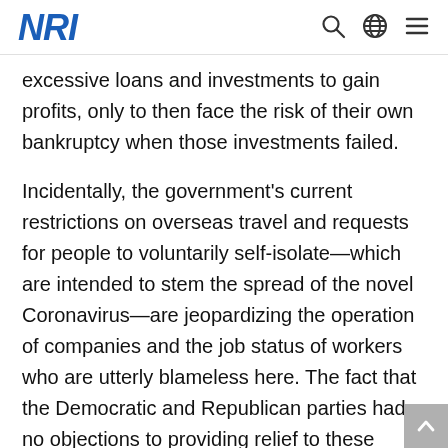NRI
excessive loans and investments to gain profits, only to then face the risk of their own bankruptcy when those investments failed.
Incidentally, the government’s current restrictions on overseas travel and requests for people to voluntarily self-isolate—which are intended to stem the spread of the novel Coronavirus—are jeopardizing the operation of companies and the job status of workers who are utterly blameless here. The fact that the Democratic and Republican parties had no objections to providing relief to these companies and individuals arguably made it possible for these stimulus measures to be passed more swiftly this time around.